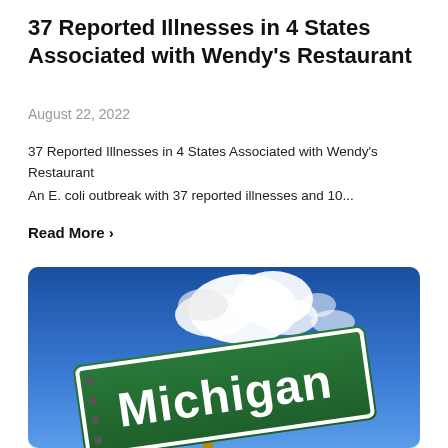37 Reported Illnesses in 4 States Associated with Wendy's Restaurant
August 22, 2022
37 Reported Illnesses in 4 States Associated with Wendy's Restaurant
An E. coli outbreak with 37 reported illnesses and 10...
Read More >
[Figure (photo): A green Michigan road sign photographed from a low angle against a blue sky with white clouds.]